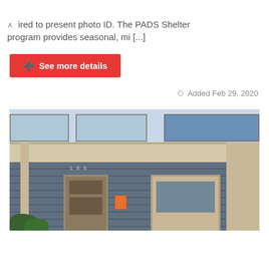ired to present photo ID. The PADS Shelter program provides seasonal, mi [...]
See more details
Added Feb 29, 2020
[Figure (photo): Exterior photo of a house or shelter building with a covered porch, siding, upper windows, front door, and shrubs]